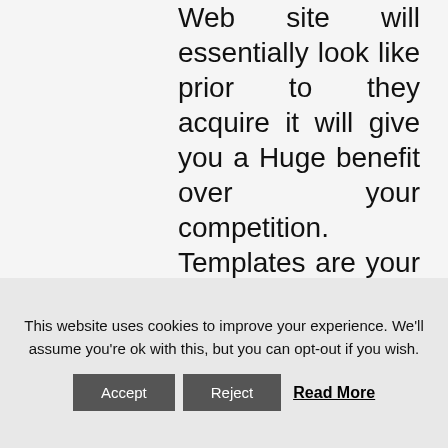Web site will essentially look like prior to they acquire it will give you a Huge benefit over your competition. Templates are your pal and you will need to discover all about plug ins etc 10 years ago we did not have 90% of todays functionality. Our package pricing starts off at $two,399.00 and includes 1 absolutely free year of hosting.
This website uses cookies to improve your experience. We'll assume you're ok with this, but you can opt-out if you wish. Accept Reject Read More